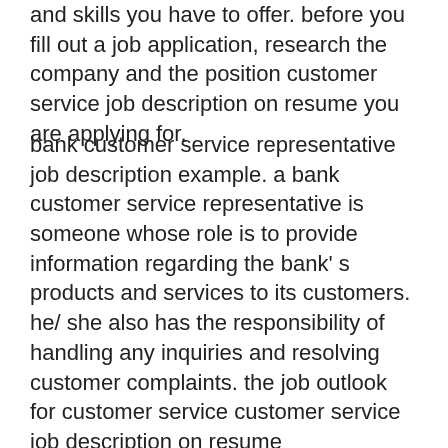and skills you have to offer. before you fill out a job application, research the company and the position customer service job description on resume you are applying for.
bank customer service representative job description example. a bank customer service representative is someone whose role is to provide information regarding the bank' s products and services to its customers. he/ she also has the responsibility of handling any inquiries and resolving customer complaints. the job outlook for customer service customer service job description on resume representatives continues to grow at a steady clip, but savvy jobseekers know that to beat out the competition and get the jobs they want, their customer service representative resume and application materials need to be spot on. for a customer service representative resume, your reverse- chronological work history should be the focus, with your education history and skills coming in second place. a customer service manager resume should include much of the same, with the most relevant job experience given priority. customer service resume summary. one of the key parts of your resume is your